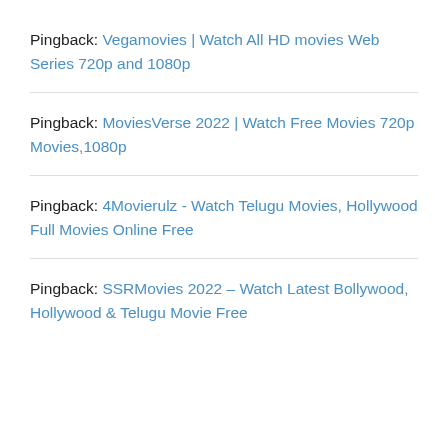Pingback: Vegamovies | Watch All HD movies Web Series 720p and 1080p
Pingback: MoviesVerse 2022 | Watch Free Movies 720p Movies,1080p
Pingback: 4Movierulz - Watch Telugu Movies, Hollywood Full Movies Online Free
Pingback: SSRMovies 2022 – Watch Latest Bollywood, Hollywood & Telugu Movie Free